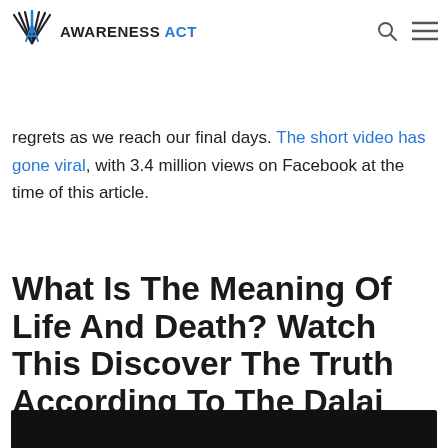AWARENESS ACT
importance of life, as well as how important it is for us to live a life with no regrets as we reach our final days. The short video has gone viral, with 3.4 million views on Facebook at the time of this article.
What Is The Meaning Of Life And Death? Watch This Discover The Truth According To The Dalai Lama:
[Figure (photo): Dark/black image at the bottom of the page, partially visible]